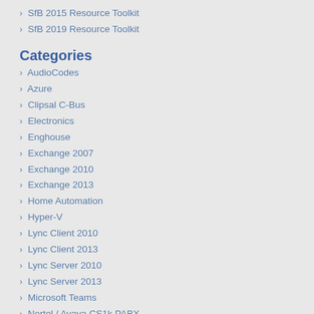SfB 2015 Resource Toolkit
SfB 2019 Resource Toolkit
Categories
AudioCodes
Azure
Clipsal C-Bus
Electronics
Enghouse
Exchange 2007
Exchange 2010
Exchange 2013
Home Automation
Hyper-V
Lync Client 2010
Lync Client 2013
Lync Server 2010
Lync Server 2013
Microsoft Teams
Nortel / Avaya CS1k PABX
O365
OCPE / LPE
OCS
PKI
Polycom